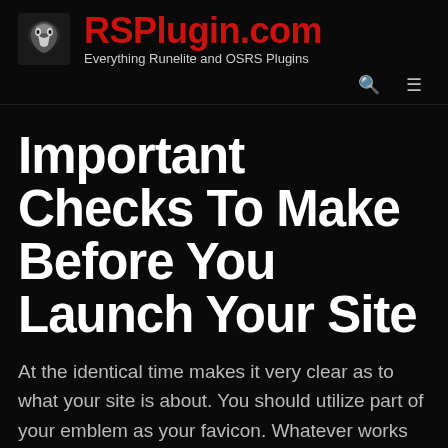RSPlugin.com — Everything Runelite and OSRS Plugins
Important Checks To Make Before You Launch Your Site
At the identical time makes it very clear as to what your site is about. You should utilize part of your emblem as your favicon. Whatever works for you, however be sure the web site …